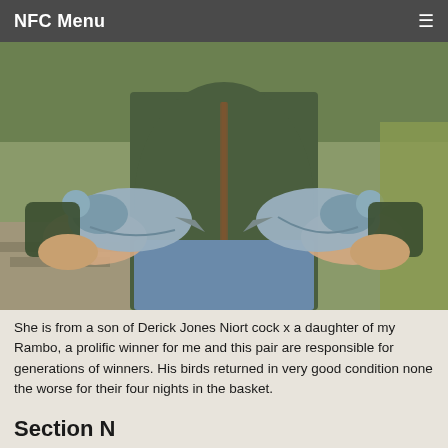NFC Menu
[Figure (photo): A person holding two racing pigeons, one in each hand, outdoors with green vegetation in the background. The person is wearing a dark green gilet/vest with a brown zipper and blue jeans.]
She is from a son of Derick Jones Niort cock x a daughter of my Rambo, a prolific winner for me and this pair are responsible for generations of winners. His birds returned in very good condition none the worse for their four nights in the basket.
Section N